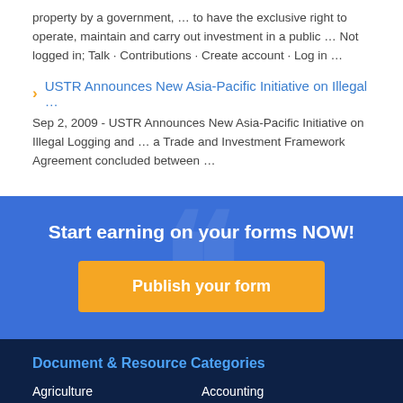property by a government, … to have the exclusive right to operate, maintain and carry out investment in a public … Not logged in; Talk · Contributions · Create account · Log in …
USTR Announces New Asia-Pacific Initiative on Illegal …
Sep 2, 2009 - USTR Announces New Asia-Pacific Initiative on Illegal Logging and … a Trade and Investment Framework Agreement concluded between …
Start earning on your forms NOW!
Publish your form
Document & Resource Categories
Agriculture
Accounting
Building Construction
Advertising